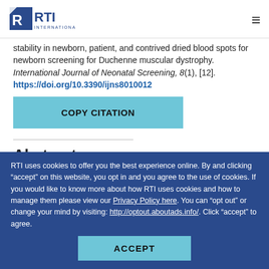RTI International
stability in newborn, patient, and contrived dried blood spots for newborn screening for Duchenne muscular dystrophy. International Journal of Neonatal Screening, 8(1), [12]. https://doi.org/10.3390/ijns8010012
COPY CITATION
Abstract
RTI uses cookies to offer you the best experience online. By and clicking “accept” on this website, you opt in and you agree to the use of cookies. If you would like to know more about how RTI uses cookies and how to manage them please view our Privacy Policy here. You can “opt out” or change your mind by visiting: http://optout.aboutads.info/. Click “accept” to agree.
ACCEPT